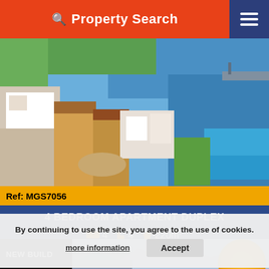Property Search
[Figure (photo): Aerial view of a coastal property development with white and yellow buildings, a swimming pool, greenery, and the sea/harbor in the background]
Ref: MGS7056
4 BEDROOM APARTMENT DUPLEX
4 bedrooms  4 bathrooms  220m²
PRICE: €485,000
- MARLIN GLOBAL -
By continuing to use the site, you agree to the use of cookies.
more information
Accept
NEW BUILD
[Figure (photo): Bottom strip showing mountain and coastal landscape photos plus Marlin Global property logo circle]